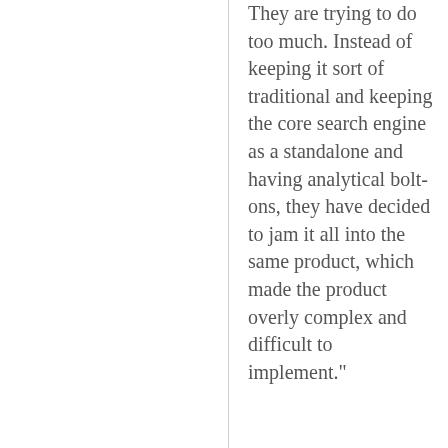They are trying to do too much. Instead of keeping it sort of traditional and keeping the core search engine as a standalone and having analytical bolt-ons, they have decided to jam it all into the same product, which made the product overly complex and difficult to implement."